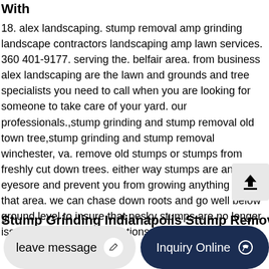With
18. alex landscaping. stump removal amp grinding landscape contractors landscaping amp lawn services. 360 401-9177. serving the. belfair area. from business alex landscaping are the lawn and grounds and tree specialists you need to call when you are looking for someone to take care of your yard. our professionals.,stump grinding and stump removal old town tree,stump grinding and stump removal winchester, va. remove old stumps or stumps from freshly cut down trees. either way stumps are an eyesore and prevent you from growing anything new in that area. we can chase down roots and go well below ground level to insure that pesky stumps are no longer issue. we also offer the options to remove all the
Stump Grinding Indianapolis Stump Removal Tree
[Figure (other): Upload/share button icon — dark arrow pointing up with a horizontal bar beneath, on a light grey rounded square background]
leave message
Inquiry Online